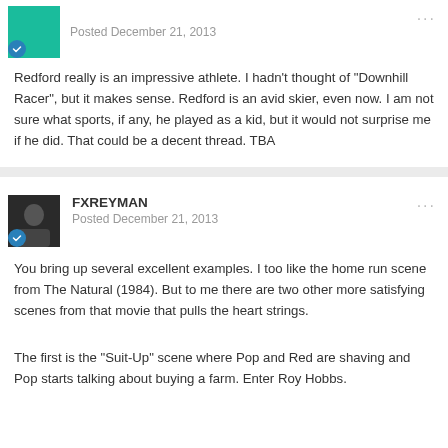Posted December 21, 2013
Redford really is an impressive athlete. I hadn't thought of "Downhill Racer", but it makes sense. Redford is an avid skier, even now. I am not sure what sports, if any, he played as a kid, but it would not surprise me if he did. That could be a decent thread. TBA
FXREYMAN
Posted December 21, 2013
You bring up several excellent examples. I too like the home run scene from The Natural (1984). But to me there are two other more satisfying scenes from that movie that pulls the heart strings.
The first is the "Suit-Up" scene where Pop and Red are shaving and Pop starts talking about buying a farm. Enter Roy Hobbs.